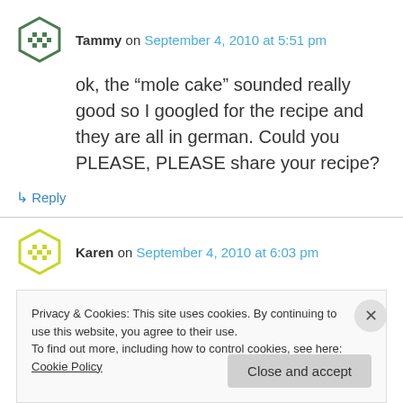Tammy on September 4, 2010 at 5:51 pm
ok, the “mole cake” sounded really good so I googled for the recipe and they are all in german. Could you PLEASE, PLEASE share your recipe?
↳ Reply
Karen on September 4, 2010 at 6:03 pm
Privacy & Cookies: This site uses cookies. By continuing to use this website, you agree to their use.
To find out more, including how to control cookies, see here: Cookie Policy
Close and accept